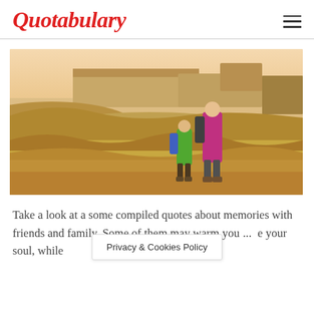Quotabulary
[Figure (photo): A woman and a child with backpacks standing on a rocky desert landscape, viewing eroded badlands formations with mesa cliffs in the background under warm golden light.]
Take a look at a some compiled quotes about memories with friends and family. Some of them may warm your ... your soul, while
Privacy & Cookies Policy